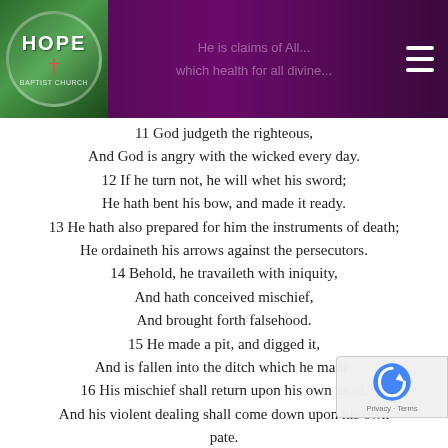HOPE BAPTIST CHURCH
11 God judgeth the righteous,
And God is angry with the wicked every day.
12 If he turn not, he will whet his sword;
He hath bent his bow, and made it ready.
13 He hath also prepared for him the instruments of death;
He ordaineth his arrows against the persecutors.
14 Behold, he travaileth with iniquity,
And hath conceived mischief,
And brought forth falsehood.
15 He made a pit, and digged it,
And is fallen into the ditch which he made.
16 His mischief shall return upon his own head,
And his violent dealing shall come down upon his own pate.
17 I will praise the Lord according to his righteousness: